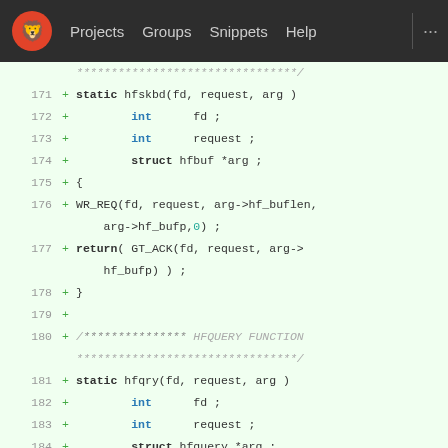[Figure (screenshot): GitLab navigation bar with logo, Projects, Groups, Snippets, Help links]
Code diff view showing lines 171-186 of a C source file with added lines (+) for hfskbd and hfqry static functions